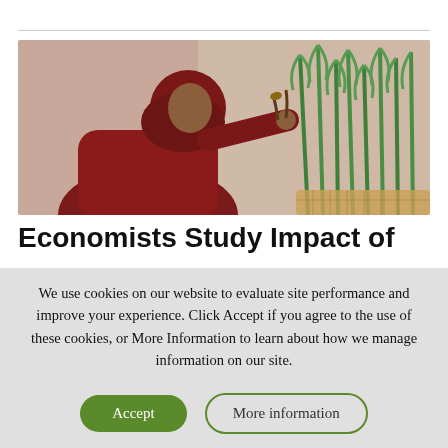[Figure (photo): A woman wearing a dark red hijab examines plant seedlings in a laboratory or greenhouse setting. Green shoots are visible in the background.]
Economists Study Impact of
We use cookies on our website to evaluate site performance and improve your experience. Click Accept if you agree to the use of these cookies, or More Information to learn about how we manage information on our site.